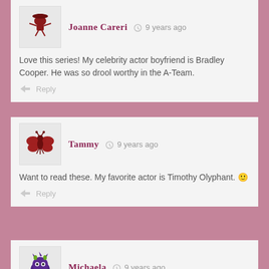Joanne Careri · 9 years ago
Love this series! My celebrity actor boyfriend is Bradley Cooper. He was so drool worthy in the A-Team.
Reply
Tammy · 9 years ago
Want to read these. My favorite actor is Timothy Olyphant. 🙂
Reply
Michaela · 9 years ago